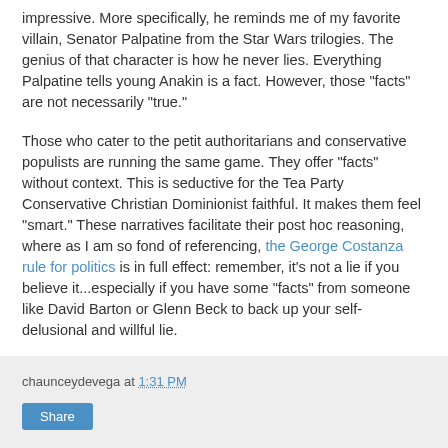impressive. More specifically, he reminds me of my favorite villain, Senator Palpatine from the Star Wars trilogies. The genius of that character is how he never lies. Everything Palpatine tells young Anakin is a fact. However, those "facts" are not necessarily "true."
Those who cater to the petit authoritarians and conservative populists are running the same game. They offer "facts" without context. This is seductive for the Tea Party Conservative Christian Dominionist faithful. It makes them feel "smart." These narratives facilitate their post hoc reasoning, where as I am so fond of referencing, the George Costanza rule for politics is in full effect: remember, it's not a lie if you believe it...especially if you have some "facts" from someone like David Barton or Glenn Beck to back up your self-delusional and willful lie.
chaunceydevega at 1:31 PM